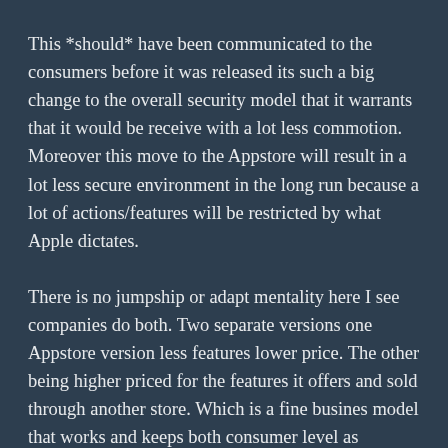This *should* have been communicated to the consumers before it was released its such a big change to the overall security model that it warrants that it would be receive with a lot less commotion. Moreover this move to the Appstore will result in a lot less secure environment in the long run because a lot of actions/features will be restricted by what Apple dictates.
There is no jumpship or adapt mentality here I see companies do both. Two separate versions one Appstore version less features lower price. The other being higher priced for the features it offers and sold through another store. Which is a fine busines model that works and keeps both consumer level as powerusers happy.